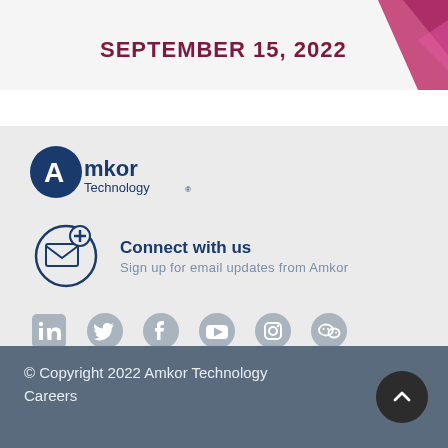SEPTEMBER 15, 2022
[Figure (logo): Amkor Technology logo with blue circle and white A, text reads Amkor Technology with registered trademark symbol]
[Figure (infographic): Email subscription icon: envelope with plus sign in a circle, next to Connect with us text and Sign up for email updates from Amkor]
[Figure (infographic): Social media icons: LinkedIn, Twitter, Facebook, YouTube, Instagram, WeChat — all in gray]
© Copyright 2022 Amkor Technology
Careers